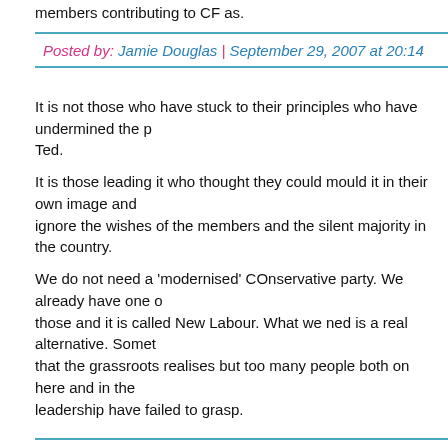members contributing to CF as.
Posted by: Jamie Douglas | September 29, 2007 at 20:14
It is not those who have stuck to their principles who have undermined the p... Ted.
It is those leading it who thought they could mould it in their own image and ignore the wishes of the members and the silent majority in the country.
We do not need a 'modernised' COnservative party. We already have one of those and it is called New Labour. What we ned is a real alternative. Something that the grassroots realises but too many people both on here and in the leadership have failed to grasp.
Posted by: Richard Tyndall | September 29, 2007 at 20:54
If you are going to throw numbers around like that Ted then I should point o... in 1987 the Conservative party polled 13.7 million votes and got 42.2% of th... vote under a Thatcherite Tory banner.
And in 1992 that rose to over 14.1 million votes under another avowedly rig... centre manifesto.
So if you want to claim that a Cameroon policy is really working better than...